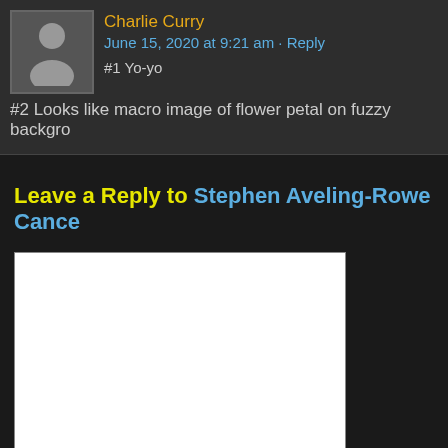Charlie Curry
June 15, 2020 at 9:21 am · Reply
#1 Yo-yo
#2 Looks like macro image of flower petal on fuzzy backgro…
Leave a Reply to Stephen Aveling-Rowe Cancel
[Figure (other): White text area input box for comment reply]
You can use these HTML tags